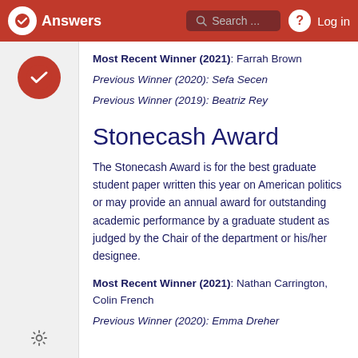Answers | Search... | Log in
Most Recent Winner (2021): Farrah Brown
Previous Winner (2020): Sefa Secen
Previous Winner (2019): Beatriz Rey
Stonecash Award
The Stonecash Award is for the best graduate student paper written this year on American politics or may provide an annual award for outstanding academic performance by a graduate student as judged by the Chair of the department or his/her designee.
Most Recent Winner (2021): Nathan Carrington, Colin French
Previous Winner (2020): Emma Dreher